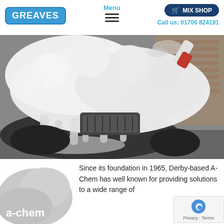GREAVES | Menu | MIX SHOP | Call us: 01706 824191
[Figure (photo): A car covered in thick white foam/snow foam being applied from a red-liquid filled spray bottle. The car front grille and bumper area is visible with foam dripping down. Background shows a brick building. Black and white toned photo.]
[Figure (logo): A-Chem logo: grey rounded shape with white text 'a-chem' in lowercase]
Since its foundation in 1965, Derby-based A-Chem has well known for providing solutions to a wide range of